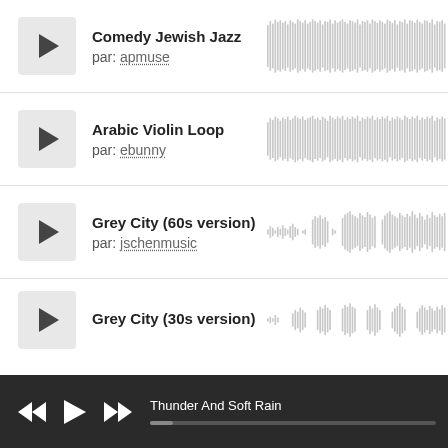Comedy Jewish Jazz — par: apmuse
[Figure (other): Audio waveform for Comedy Jewish Jazz — dense tall waveform]
Arabic Violin Loop — par: ebunny
[Figure (other): Audio waveform for Arabic Violin Loop — tall uniform waveform]
Grey City (60s version) — par: jschenmusic
[Figure (other): Audio waveform for Grey City 60s version — sparse waveform with clusters]
Grey City (30s version)
Thunder And Soft Rain